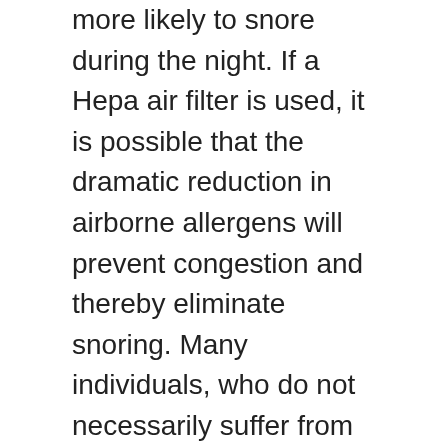more likely to snore during the night. If a Hepa air filter is used, it is possible that the dramatic reduction in airborne allergens will prevent congestion and thereby eliminate snoring. Many individuals, who do not necessarily suffer from allergies, simply wake up feeling congested and stuffy. This may be a result of having little or no air circulating in the room, which can be corrected with the use of a Hepa air filter. If you have a smoker in the house, these portable air purifiers can work miracles and filtering the smoke. A Hepa air filter purifier can be purchased at most retail stores and is typically found in the housewares department. In addition, Hepa air filter units and replacement cartridges are widely available online. It is important to remember that filters must be changed regularly in order to